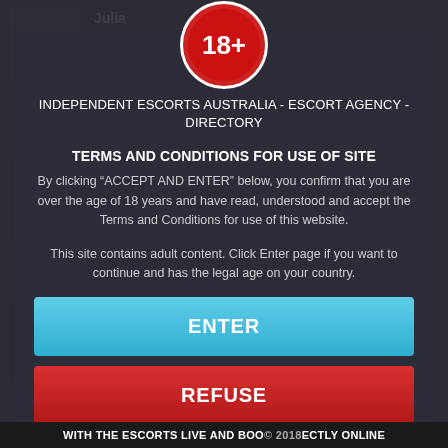[Figure (screenshot): Background website listing showing escort profiles with photos, names (Julia, Irina, Adele, Elfida), and green 1:1 Chat Now buttons]
[Figure (logo): 18+ age restriction badge: red circle with white '18+' text]
INDEPENDENT ESCORTS AUSTRALIA - ESCORT AGENCY - DIRECTORY
TERMS AND CONDITIONS FOR USE OF SITE
By clicking “ACCEPT AND ENTER” below, you confirm that you are over the age of 18 years and have read, understood and accept the Terms and Conditions for use of this website.
This site contains adult content. Click Enter page if you want to continue and has the legal age on your country.
ENTER
REFUSE
WITH THE ESCORTS LIVE AND BOOK DIRECTLY ONLINE © 2018